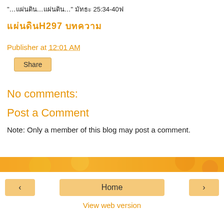“…และแผ่นดิน…”มัทธะ 25:34-40ຟ
แผ่นดินH297 บทความ
Publisher at 12:01 AM
Share
No comments:
Post a Comment
Note: Only a member of this blog may post a comment.
< Home > View web version